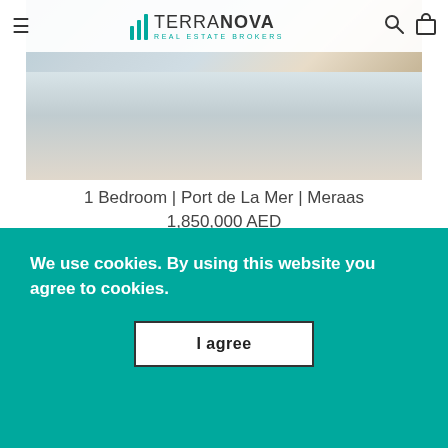TERRANOVA REAL ESTATE BROKERS
[Figure (photo): Outdoor walkway or promenade scene with trees and modern building facade, photographed from an angle]
1 Bedroom | Port de La Mer | Meraas
1,850,000 AED
[Figure (photo): Interior room photo showing wall art, curtains and ceiling detail]
We use cookies. By using this website you agree to cookies.